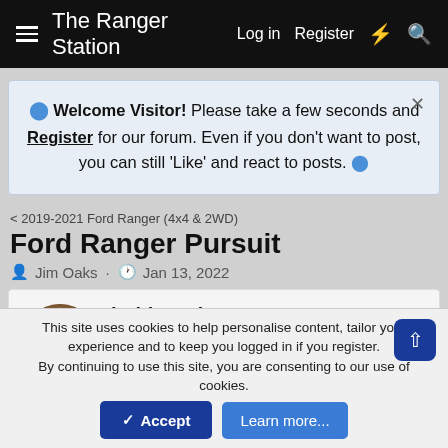The Ranger Station  Log in  Register
Welcome Visitor! Please take a few seconds and Register for our forum. Even if you don't want to post, you can still 'Like' and react to posts.
< 2019-2021 Ford Ranger (4x4 & 2WD)
Ford Ranger Pursuit
Jim Oaks · Jan 13, 2022
bobbywalter
TRS Technical Staff  V8 Engine Swap  TRS Technical Advisor
TRS Banner 2012-2015  TRS 20th Anniversary
TRS Event Participant
This site uses cookies to help personalise content, tailor your experience and to keep you logged in if you register.
By continuing to use this site, you are consenting to our use of cookies.